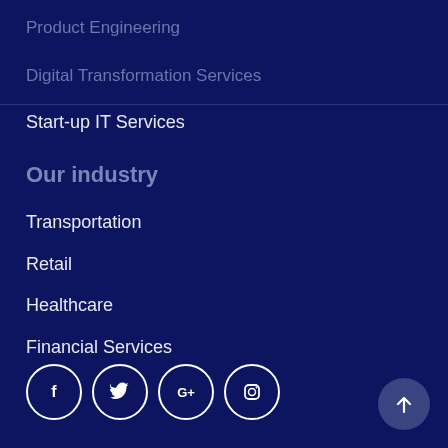Product Engineering
Digital Transformation Services
Start-up IT Services
Our industry
Transportation
Retail
Healthcare
Financial Services
[Figure (illustration): Social media icons: Facebook, Twitter, Google+, Instagram — white circle outlines on dark navy background]
[Figure (illustration): Back to top button — circular arrow pointing up, grey circle on dark navy background]